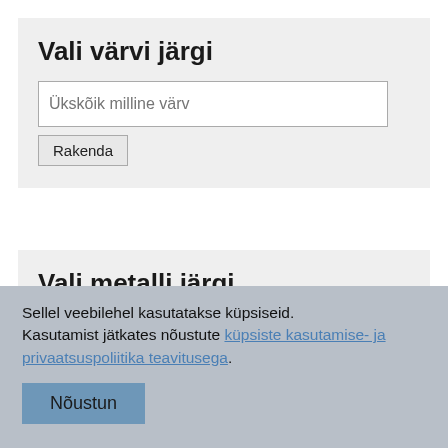Vali värvi järgi
Ükskõik milline värv
Rakenda
Vali metalli järgi
Sellel veebilehel kasutatakse küpsiseid. Kasutamist jätkates nõustute küpsiste kasutamise- ja privaatsuspoliitika teavitusega.
Nõustun